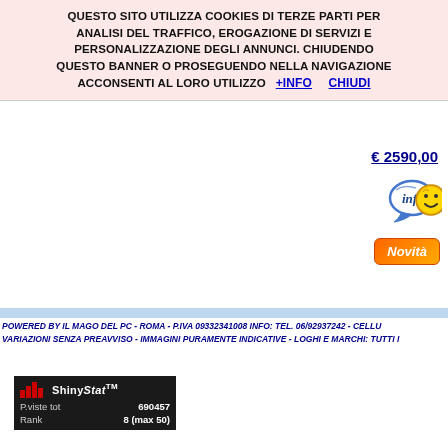QUESTO SITO UTILIZZA COOKIES DI TERZE PARTI PER ANALISI DEL TRAFFICO, EROGAZIONE DI SERVIZI E PERSONALIZZAZIONE DEGLI ANNUNCI. CHIUDENDO QUESTO BANNER O PROSEGUENDO NELLA NAVIGAZIONE ACCONSENTI AL LORO UTILIZZO  +Info    CHIUDI
€ 2590,00
[Figure (illustration): Blue speech bubble with 'info' text and a yellow smiley face icon]
Novità
POWERED BY IL MAGO DEL PC - ROMA - P.IVA 09332341008 INFO: TEL. 06/92937242 - CELLU VARIAZIONI SENZA PREAVVISO - IMMAGINI PURAMENTE INDICATIVE - LOGHI E MARCHI: TUTTI I
[Figure (infographic): ShinyStat widget showing bar chart logo, P.viste tot 690457, Rank 8 (max 50)]